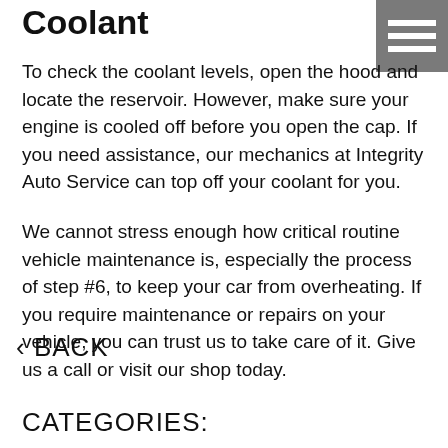Coolant
[Figure (other): Hamburger menu icon (three horizontal white lines on grey background) in top-right corner]
To check the coolant levels, open the hood and locate the reservoir. However, make sure your engine is cooled off before you open the cap. If you need assistance, our mechanics at Integrity Auto Service can top off your coolant for you.
We cannot stress enough how critical routine vehicle maintenance is, especially the process of step #6, to keep your car from overheating. If you require maintenance or repairs on your vehicle, you can trust us to take care of it. Give us a call or visit our shop today.
‹ BACK
CATEGORIES: